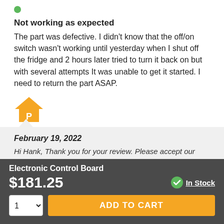Not working as expected
The part was defective. I didn't know that the off/on switch wasn't working until yesterday when I shut off the fridge and 2 hours later tried to turn it back on but with several attempts It was unable to get it started. I need to return the part ASAP.
[Figure (logo): Orange house icon with letter P]
February 19, 2022
Hi Hank, Thank you for your review. Please accept our apologies for this situation. We will be
Electronic Control Board
$181.25
In Stock
1
ADD TO CART